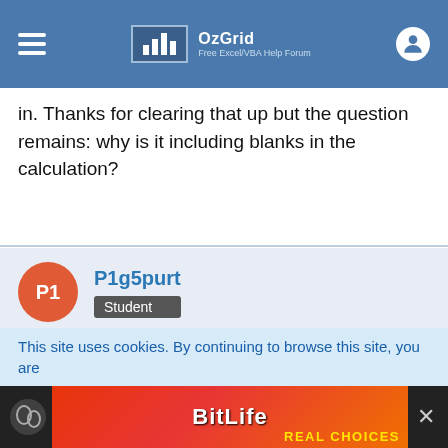OzGrid — Free Excel/VBA Help Forum
in. Thanks for clearing that up but the question remains: why is it including blanks in the calculation?
P1g5purt — Student
Feb 1st 2007
Re: Median Blanks Array
Confession time - I'm as baffled as you are - Excel should exclude empty cells, blanks & text from a MEDIAN calc for
This site uses cookies. By continuing to browse this site, you are